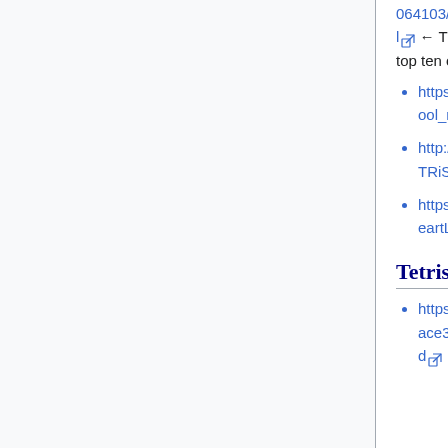064103/http://www.am-j.co.jp/column/47amshow/data03.html [external link] ← TGM4's performance relative to Dekaris at 47th Amusement Machine Show; only made top ten on day 3, whereas Dekaris made top three every single day
https://web.archive.org/web/20070516071510/http://web.iis.to/tetris_tgm/cool_regret.html [external link]
http://www10.plala.or.jp/code1484/TETRiS_EX/tetris_ex.htm [external link]
https://web.archive.org/web/20071114200854/http://www.geocities.co.jp/HeartLand-Oak/8244/tap.html#so [external link]
Tetris (Sega)
https://blog.goo.ne.jp/nazox2016/e/dface35f5ad69f75d86314978f8d12bd [external link]